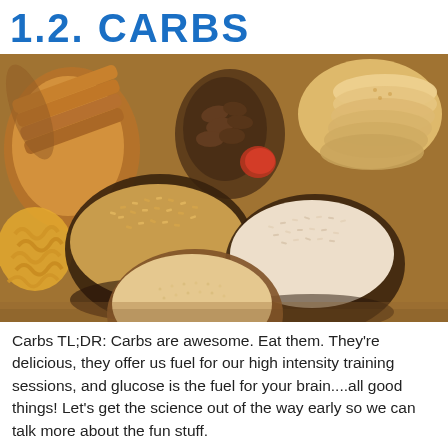1.2. CARBS
[Figure (photo): Overhead photo of various carbohydrate foods: sliced bread, crackers, bowls of rice, pasta spirals, and grains arranged on a wooden surface.]
Carbs TL;DR: Carbs are awesome. Eat them. They're delicious, they offer us fuel for our high intensity training sessions, and glucose is the fuel for your brain....all good things! Let's get the science out of the way early so we can talk more about the fun stuff.